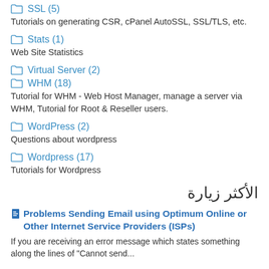📁 SSL (5)
Tutorials on generating CSR, cPanel AutoSSL, SSL/TLS, etc.
📁 Stats (1)
Web Site Statistics
📁 Virtual Server (2)
📁 WHM (18)
Tutorial for WHM - Web Host Manager, manage a server via WHM, Tutorial for Root & Reseller users.
📁 WordPress (2)
Questions about wordpress
📁 Wordpress (17)
Tutorials for Wordpress
الأكثر زيارة
Problems Sending Email using Optimum Online or Other Internet Service Providers (ISPs)
If you are receiving an error message which states something along the lines of "Cannot send...